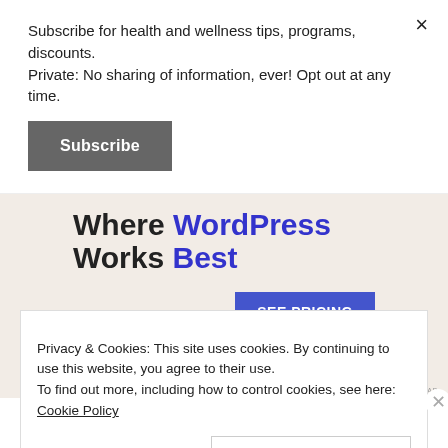Subscribe for health and wellness tips, programs, discounts. Private: No sharing of information, ever! Opt out at any time.
Subscribe
[Figure (other): Advertisement: 'Where WordPress Works Best' with a 'SEE PRICING' button on beige background]
REPORT THIS AD
Privacy & Cookies: This site uses cookies. By continuing to use this website, you agree to their use. To find out more, including how to control cookies, see here: Cookie Policy
Close and accept